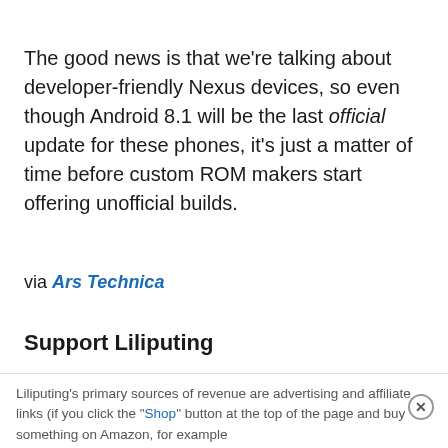The good news is that we're talking about developer-friendly Nexus devices, so even though Android 8.1 will be the last official update for these phones, it's just a matter of time before custom ROM makers start offering unofficial builds.
via Ars Technica
Support Liliputing
Liliputing's primary sources of revenue are advertising and affiliate links (if you click the "Shop" button at the top of the page and buy something on Amazon, for example